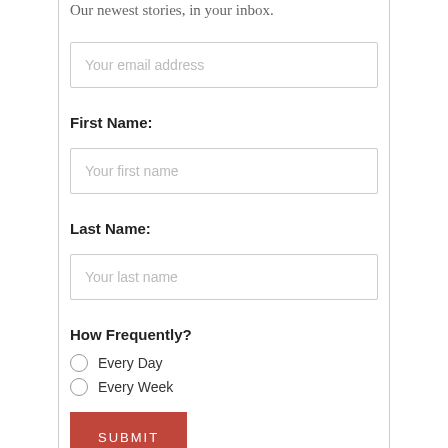Our newest stories, in your inbox.
Your email address
First Name:
Your first name
Last Name:
Your last name
How Frequently?
Every Day
Every Week
SUBMIT